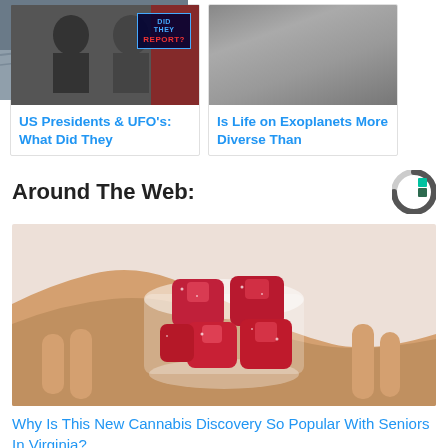[Figure (photo): Thumbnail image of US Presidents, black and white photo with 'Did They Report?' badge overlay]
US Presidents & UFO's: What Did They
[Figure (photo): Thumbnail image of a dark ocean or sky surface, possibly exoplanet reference]
Is Life on Exoplanets More Diverse Than
Around The Web:
[Figure (logo): Circular C logo with green and teal accent, grey ring - Sharethrough/content recommendation logo]
[Figure (photo): Close-up photo of red sugar-coated cannabis gummy candies held in a white plastic cup by a hand]
Why Is This New Cannabis Discovery So Popular With Seniors In Virginia?